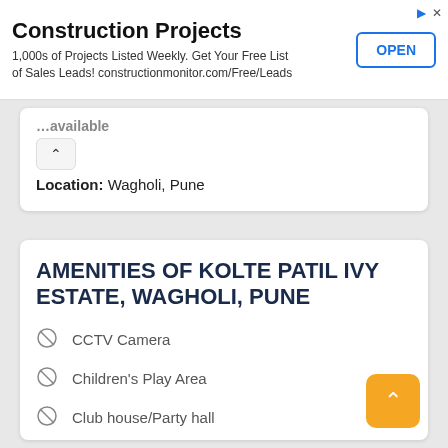[Figure (screenshot): Advertisement banner for Construction Projects. Title: 'Construction Projects', subtitle: '1,000s of Projects Listed Weekly. Get Your Free List of Sales Leads! constructionmonitor.com/Free/Leads', with an 'OPEN' button and ad icons top-right.]
...available
Location: Wagholi, Pune
AMENITIES OF KOLTE PATIL IVY ESTATE, WAGHOLI, PUNE
CCTV Camera
Children's Play Area
Club house/Party hall
Fire Fighting Systems